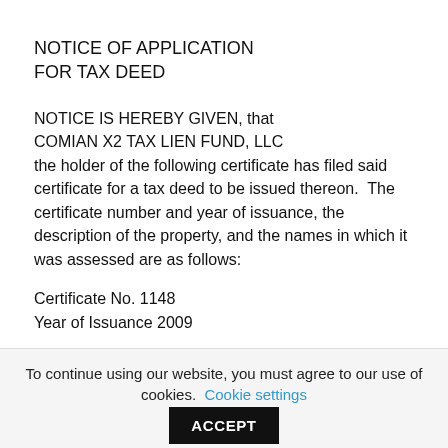NOTICE OF APPLICATION FOR TAX DEED
NOTICE IS HEREBY GIVEN, that COMIAN X2 TAX LIEN FUND, LLC the holder of the following certificate has filed said certificate for a tax deed to be issued thereon. The certificate number and year of issuance, the description of the property, and the names in which it was assessed are as follows:
Certificate No. 1148
Year of Issuance 2009
To continue using our website, you must agree to our use of cookies. Cookie settings ACCEPT